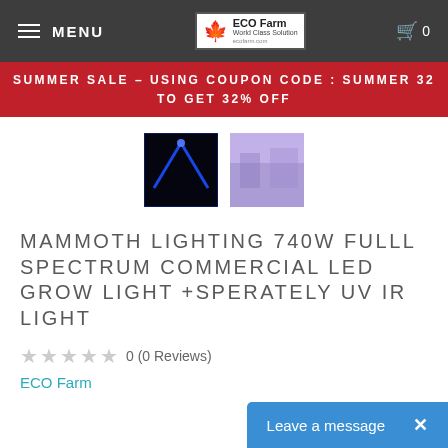MENU | ECO Farm | Cart 0
SUMMER SALE – USING COUPON CODE : SUMMER 32 TO GET 32% OFF
[Figure (photo): Two product thumbnail images: first shows blue UV LED lights in dark room, second shows purple/blue light in a room]
MAMMOTH LIGHTING 740W FULLL SPECTRUM COMMERCIAL LED GROW LIGHT +SPERATELY UV IR LIGHT
0 (0 Reviews)
ECO Farm
Leave a message ×